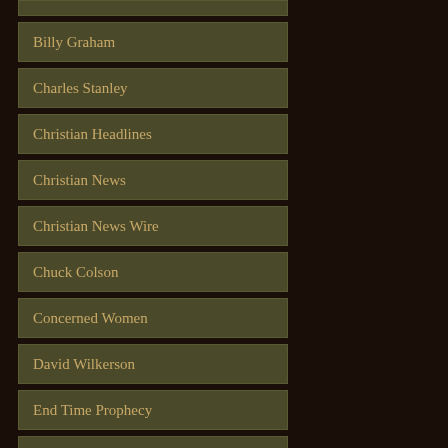Billy Graham
Charles Stanley
Christian Headlines
Christian News
Christian News Wire
Chuck Colson
Concerned Women
David Wilkerson
End Time Prophecy
Faith 2 Action
Focus on the Family
Hal Lindsey